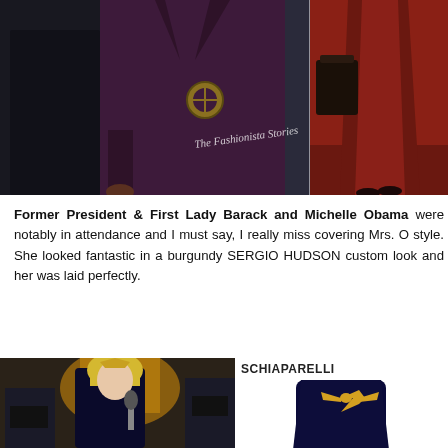[Figure (photo): Two-panel photo: left panel shows a man in black suit and a woman in a deep burgundy/plum pantsuit with large circular belt buckle; right panel shows a woman in a dark burgundy coat dress walking on a red-lit surface. Watermark text 'The Fashionista Stories' is visible.]
Former President & First Lady Barack and Michelle Obama were notably in attendance and I must say, I really miss covering Mrs. O style. She looked fantastic in a burgundy SERGIO HUDSON custom look and her was laid perfectly.
[Figure (photo): Left: photo of a woman (Lady Gaga) wearing a dark navy high-neck look with a gold dove brooch, holding a microphone, with masked security personnel in the background in front of an ornate golden building entrance. Right: product shot of the SCHIAPARELLI navy dress with a golden dove emblem on the back.]
SCHIAPARELLI